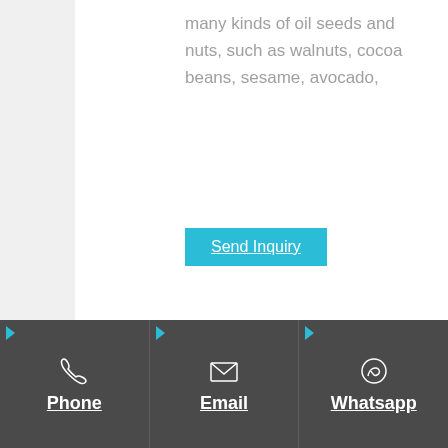many kinds of oil seeds and nuts, such as walnuts, cocoa beans, sesame, avocado,
Send Inquiry
Phone
Email
Whatsapp